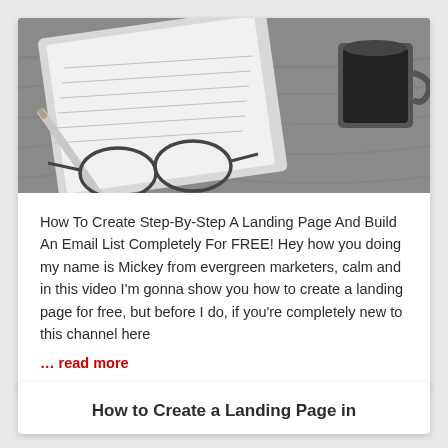[Figure (photo): Black and white photo of a notebook with a pencil, a coffee cup, and wooden surface]
How To Create Step-By-Step A Landing Page And Build An Email List Completely For FREE! Hey how you doing my name is Mickey from evergreen marketers, calm and in this video I'm gonna show you how to create a landing page for free, but before I do, if you're completely new to this channel here
... read more
How to Create a Landing Page in